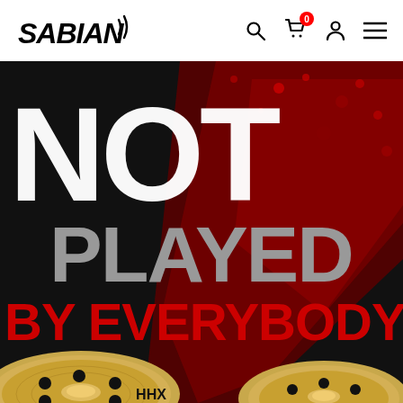SABIAN
[Figure (photo): SABIAN cymbal advertisement with dark background, red paint splash, large white graffiti-style text reading NOT, gray text PLAYED, red text BY EVERYBODY, and gold/bronze HHX cymbals visible at the bottom]